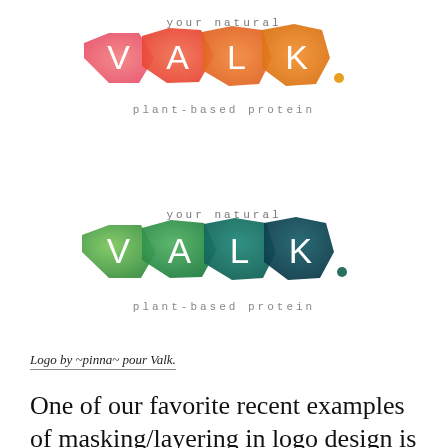[Figure (logo): VALK plant-based protein logo in warm colors (pink, coral, orange) with hexagonal watercolor shapes and white letters V A L K, tagline 'your natural' above and 'plant-based protein' below]
[Figure (logo): VALK plant-based protein logo in cool colors (green, teal, dark teal) with hexagonal watercolor shapes and white letters V A L K, tagline 'your natural' above and 'plant-based protein' below]
Logo by ~pinna~ pour Valk.
One of our favorite recent examples of masking/layering in logo design is Redew's